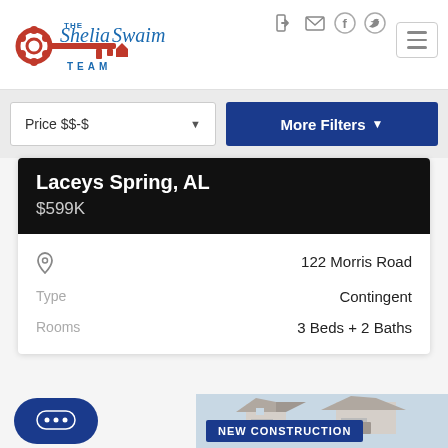[Figure (logo): The Shelia Swaim Team real estate logo with decorative key icon]
[Figure (screenshot): Price filter dropdown selector showing 'Price $$-$']
[Figure (screenshot): More Filters button in navy blue]
Laceys Spring, AL
$599K
122 Morris Road
Type
Contingent
Rooms
3 Beds + 2 Baths
NEW CONSTRUCTION
[Figure (photo): Partial view of a house exterior at the bottom of the page]